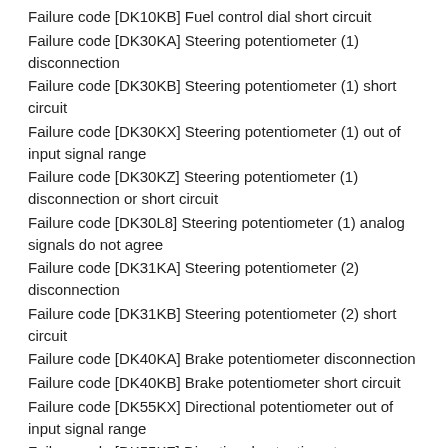Failure code [DK10KB] Fuel control dial short circuit
Failure code [DK30KA] Steering potentiometer (1) disconnection
Failure code [DK30KB] Steering potentiometer (1) short circuit
Failure code [DK30KX] Steering potentiometer (1) out of input signal range
Failure code [DK30KZ] Steering potentiometer (1) disconnection or short circuit
Failure code [DK30L8] Steering potentiometer (1) analog signals do not agree
Failure code [DK31KA] Steering potentiometer (2) disconnection
Failure code [DK31KB] Steering potentiometer (2) short circuit
Failure code [DK40KA] Brake potentiometer disconnection
Failure code [DK40KB] Brake potentiometer short circuit
Failure code [DK55KX] Directional potentiometer out of input signal range
Failure code [DK55KZ] Directional potentiometer disconnection or short circuit
Failure code [DK55L8] Directional potentiometer analog signals do not agree